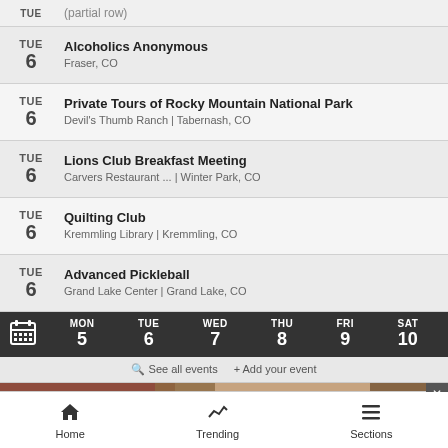TUE 6 — Alcoholics Anonymous, Fraser, CO
TUE 6 — Private Tours of Rocky Mountain National Park, Devil's Thumb Ranch | Tabernash, CO
TUE 6 — Lions Club Breakfast Meeting, Carvers Restaurant ... | Winter Park, CO
TUE 6 — Quilting Club, Kremmling Library | Kremmling, CO
TUE 6 — Advanced Pickleball, Grand Lake Center | Grand Lake, CO
[Figure (screenshot): Calendar navigation bar showing MON 5, TUE 6, WED 7, THU 8, FRI 9, SAT 10 with calendar icon]
🔍 See all events   + Add your event
[Figure (photo): Macy's advertisement banner: KISS BORING LIPS GOODBYE with photo of woman, SHOP NOW button and Macy's star logo]
[Figure (screenshot): Bottom navigation bar with Home, Trending, and Sections tabs]